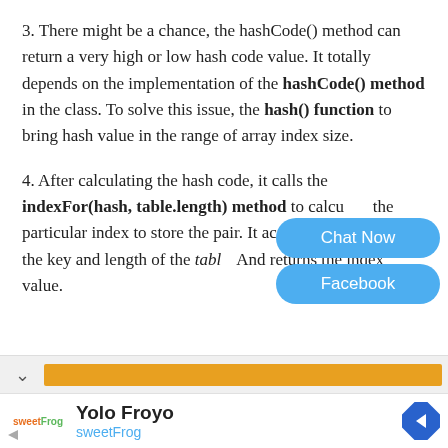3. There might be a chance, the hashCode() method can return a very high or low hash code value. It totally depends on the implementation of the hashCode() method in the class. To solve this issue, the hash() function to bring hash value in the range of array index size.
4. After calculating the hash code, it calls the indexFor(hash, table.length) method to calculate the particular index to store the pair. It accepts hash code of the key and length of the table. And returns the index value.
[Figure (other): Two blue rounded-rectangle buttons overlapping the text on the right side: 'Chat Now' and 'Facebook']
[Figure (other): An advertisement bar with a chevron/collapse icon on the left and an orange horizontal progress/ad bar]
[Figure (other): Advertisement for Yolo Froyo by sweetFrog, with sweetFrog logo, title 'Yolo Froyo', subtitle 'sweetFrog' in blue, and a blue diamond navigation icon on the right]